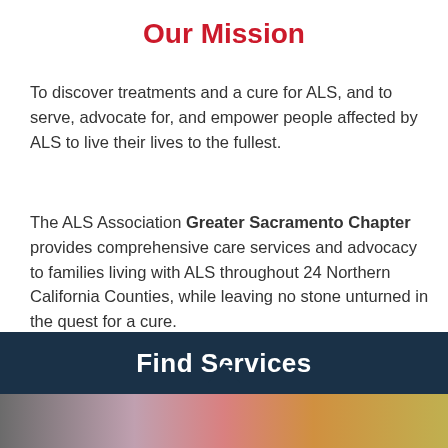Our Mission
To discover treatments and a cure for ALS, and to serve, advocate for, and empower people affected by ALS to live their lives to the fullest.
The ALS Association Greater Sacramento Chapter provides comprehensive care services and advocacy to families living with ALS throughout 24 Northern California Counties, while leaving no stone unturned in the quest for a cure.
Find Services